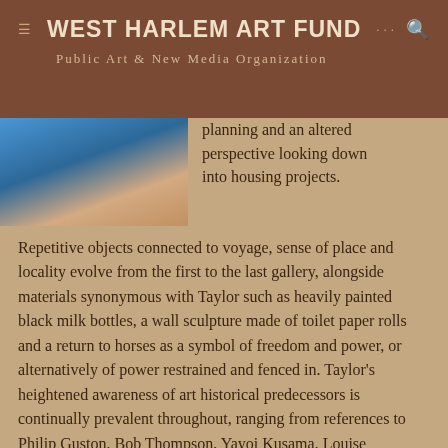WEST HARLEM ART FUND
Public Art & New Media Organization
[Figure (photo): Partial image of an artwork showing blue and skin-toned colors, cropped at top of content area]
planning and an altered perspective looking down into housing projects.
Repetitive objects connected to voyage, sense of place and locality evolve from the first to the last gallery, alongside materials synonymous with Taylor such as heavily painted black milk bottles, a wall sculpture made of toilet paper rolls and a return to horses as a symbol of freedom and power, or alternatively of power restrained and fenced in. Taylor's heightened awareness of art historical predecessors is continually prevalent throughout, ranging from references to Philip Guston, Bob Thompson, Yayoi Kusama, Louise Nevelson and Cy Twombly.
A series of miniature box paintings in the Pigsty gallery act as